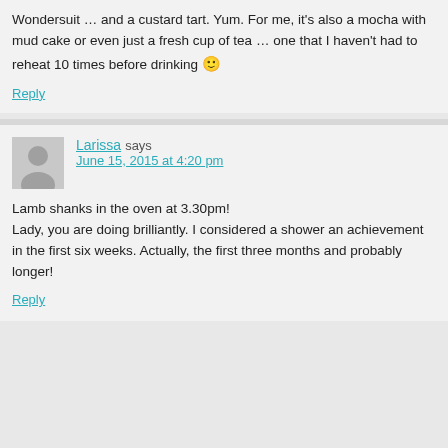Wondersuit … and a custard tart. Yum. For me, it's also a mocha with mud cake or even just a fresh cup of tea … one that I haven't had to reheat 10 times before drinking 🙂
Reply
Larissa says
June 15, 2015 at 4:20 pm
Lamb shanks in the oven at 3.30pm!
Lady, you are doing brilliantly. I considered a shower an achievement in the first six weeks. Actually, the first three months and probably longer!
Reply